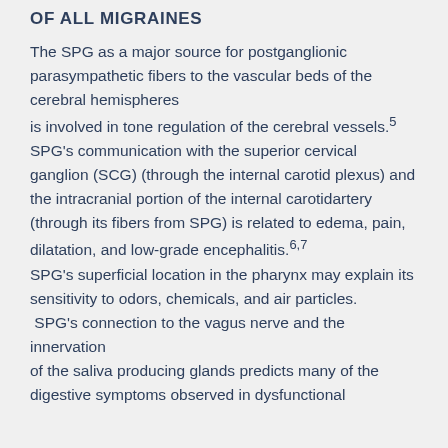OF ALL MIGRAINES
The SPG as a major source for postganglionic parasympathetic fibers to the vascular beds of the cerebral hemispheres is involved in tone regulation of the cerebral vessels.5 SPG's communication with the superior cervical ganglion (SCG) (through the internal carotid plexus) and the intracranial portion of the internal carotidartery (through its fibers from SPG) is related to edema, pain, dilatation, and low-grade encephalitis.6,7 SPG's superficial location in the pharynx may explain its sensitivity to odors, chemicals, and air particles. SPG's connection to the vagus nerve and the innervation of the saliva producing glands predicts many of the digestive symptoms observed in dysfunctional